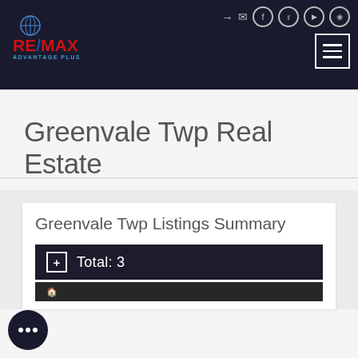RE/MAX Advantage Plus — navigation header with social icons and menu button
Greenvale Twp Real Estate
Greenvale Twp Listings Summary
Total: 3